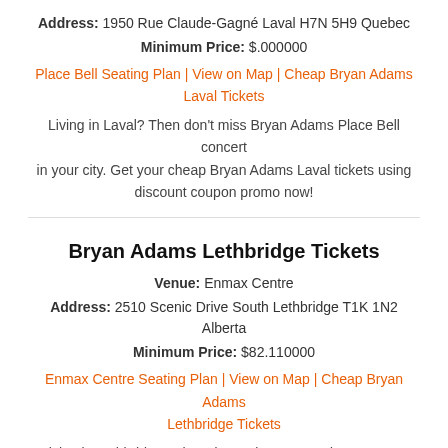Address: 1950 Rue Claude-Gagné Laval H7N 5H9 Quebec
Minimum Price: $.000000
Place Bell Seating Plan | View on Map | Cheap Bryan Adams Laval Tickets
Living in Laval? Then don't miss Bryan Adams Place Bell concert in your city. Get your cheap Bryan Adams Laval tickets using discount coupon promo now!
Bryan Adams Lethbridge Tickets
Venue: Enmax Centre
Address: 2510 Scenic Drive South Lethbridge T1K 1N2 Alberta
Minimum Price: $82.110000
Enmax Centre Seating Plan | View on Map | Cheap Bryan Adams Lethbridge Tickets
Living in Lethbridge? Then don't miss Bryan Adams Enmax Centre concert in your city. Get your cheap Bryan Adams Lethbridge tickets using discount coupon promo now!